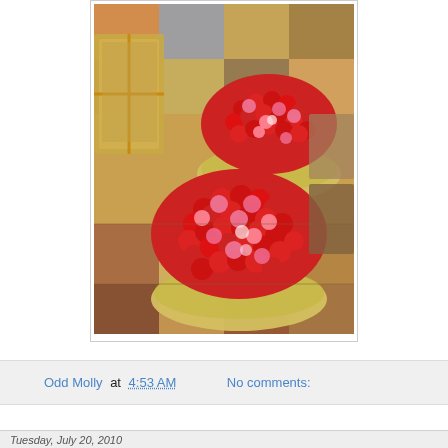[Figure (photo): Two heart-shaped boxes filled with red and pink roses arranged in a flower market or shop, displayed on colorful patterned rugs and fabric. The roses are densely packed forming heart shapes in wicker/straw-trimmed round boxes.]
Odd Molly at 4:53 AM    No comments:
Tuesday, July 20, 2010